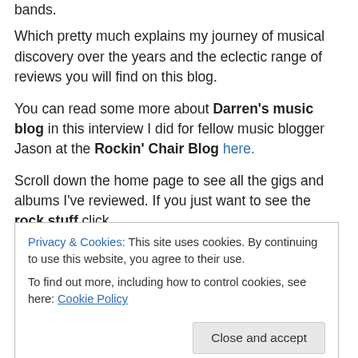bands.
Which pretty much explains my journey of musical discovery over the years and the eclectic range of reviews you will find on this blog.
You can read some more about Darren's music blog in this interview I did for fellow music blogger Jason at the Rockin' Chair Blog here.
Scroll down the home page to see all the gigs and albums I've reviewed. If you just want to see the rock stuff click
Privacy & Cookies: This site uses cookies. By continuing to use this website, you agree to their use.
To find out more, including how to control cookies, see here: Cookie Policy
site as long as you credit them. Unless otherwise credited